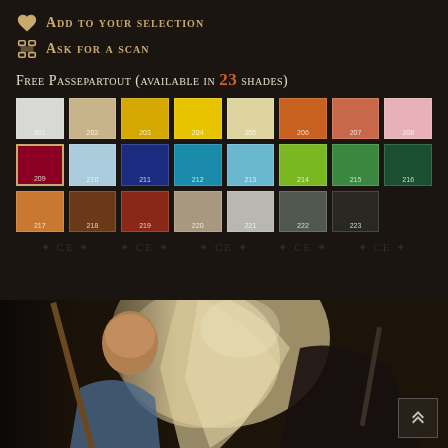Add to your selection
Ask for a scan
Free Passepartout (available in 23 shades)
[Figure (infographic): Color swatch grid showing 23 passepartout shade options numbered 201-223. Row 1: 201 (light gray), 202 (beige/tan), 203 (yellow), 204 (bright yellow), 205 (cream/light yellow), 206 (orange), 207 (terracotta/salmon), 208 (pink). Row 2: 209 (dark red/crimson), 210 (light blue), 211 (dark blue/navy), 212 (teal/cyan), 213 (sky blue), 214 (lime green), 215 (medium green), 216 (dark green). Row 3: 217 (orange-brown), 218 (dark brown), 219 (dark red-brown), 220 (taupe/gray-beige), 221 (light gray), 222 (dark gray), 223 (very dark/near black).]
[Figure (photo): Classic oil painting detail showing figures in a battle or dramatic scene — a bald elderly man in blue clothing and another figure with a weapon, set against dramatic light and dark contrast.]